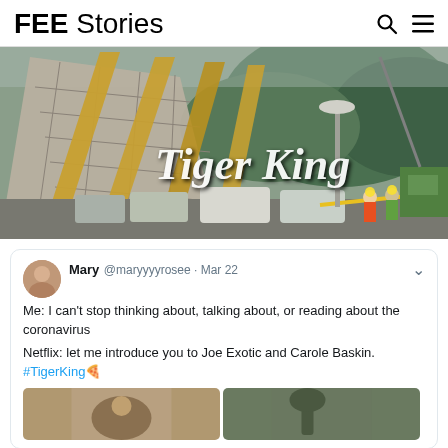FEE Stories
[Figure (photo): Hero image showing a collapsed or heavily damaged building with large diagonal support beams, cars parked nearby, workers in hard hats, and lush green hillside in background. Text overlay reads 'Tiger King' in white italic font.]
Mary @maryyyyrosee · Mar 22
Me: I can't stop thinking about, talking about, or reading about the coronavirus

Netflix: let me introduce you to Joe Exotic and Carole Baskin. #TigerKing🐯
[Figure (photo): Two thumbnail images side by side at the bottom of a tweet card.]